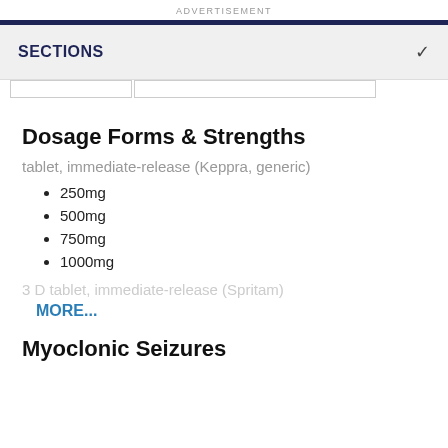ADVERTISEMENT
SECTIONS
Dosage Forms & Strengths
tablet, immediate-release (Keppra, generic)
250mg
500mg
750mg
1000mg
3 D tablet, immediate-release (Spritam)
MORE...
Myoclonic Seizures